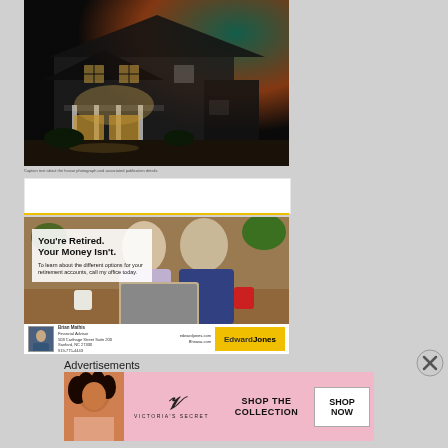[Figure (photo): Night-lit house exterior with dark siding, illuminated porch and windows, colorful sky background with orange and teal hues]
Caption text below house photo (small unreadable text)
[Figure (photo): Edward Jones advertisement: 'You're Retired. Your Money Isn't.' with photo of older couple looking at laptop, advisor contact info and Edward Jones logo]
Advertisements
[Figure (photo): Victoria's Secret advertisement: 'SHOP THE COLLECTION' with model photo, Victoria's Secret logo, and SHOP NOW button]